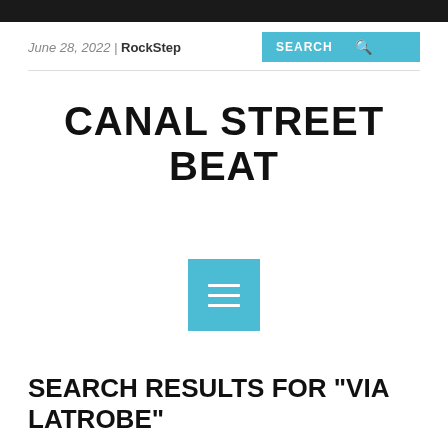June 28, 2022 | RockStep
CANAL STREET BEAT
[Figure (other): Menu hamburger icon button in teal/blue square]
SEARCH RESULTS FOR "VIA LATROBE"